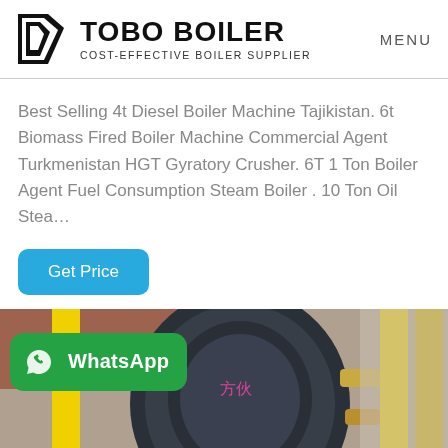TOBO BOILER | COST-EFFECTIVE BOILER SUPPLIER | MENU
Best Selling 4t Diesel Boiler Machine Tajikistan. 6t Biomass Fired Boiler Machine Commercial Agent Turkmenistan HGT Gyratory Crusher. 6T 1 Ton Boiler Agent Fuel Consumption Steam Boiler . 10 Ton Oil Stea…
Get Price
[Figure (photo): Industrial boiler equipment with yellow pipes and a large cylindrical vessel, with a green WhatsApp button overlay showing WhatsApp logo and text]